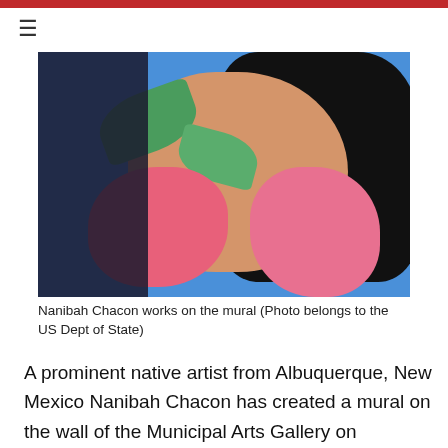≡
[Figure (photo): Nanibah Chacon working on a colorful mural depicting a woman's face with flower ornamentation on a blue background]
Nanibah Chacon works on the mural (Photo belongs to the US Dept of State)
A prominent native artist from Albuquerque, New Mexico Nanibah Chacon has created a mural on the wall of the Municipal Arts Gallery on Izhevsk's central square. The artwork was finished and unveiled on Izhevsk City Day which coincided with the Day of Russia and the Udmurt ethnic holiday Gerber. The mural was appreciated by and received an overwhelmingly positive response from the general public and the cultural community. The mural titled Migration depicts a woman in a flower ornamented scarf symbolizing the universal nature of folk aesthetics. During